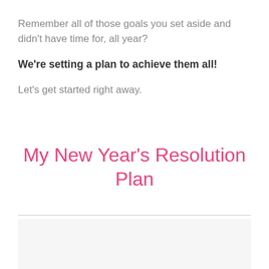Remember all of those goals you set aside and didn't have time for, all year?
We're setting a plan to achieve them all!
Let's get started right away.
My New Year's Resolution Plan